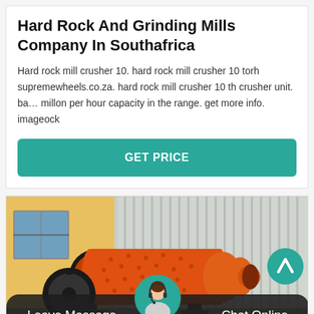Hard Rock And Grinding Mills Company In Southafrica
Hard rock mill crusher 10. hard rock mill crusher 10 torh supremewheels.co.za. hard rock mill crusher 10 th crusher unit. ba… millon per hour capacity in the range. get more info. imageock
GET PRICE
[Figure (photo): Large orange industrial ball mill / grinding mill machine outdoors in front of a factory building with corrugated metal walls. An up-arrow navigation button appears in the upper right of the image.]
Leave Message   Chat Online